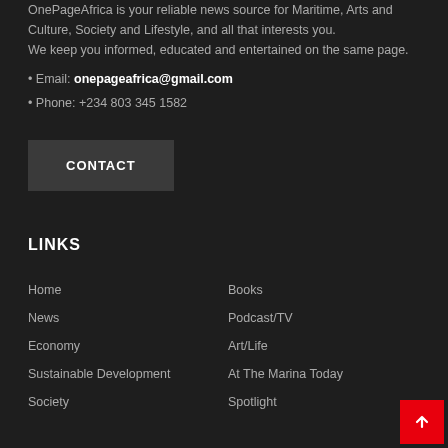OnePageAfrica is your reliable news source for Maritime, Arts and Culture, Society and Lifestyle, and all that interests you. We keep you informed, educated and entertained on the same page.
• Email: onepageafrica@gmail.com
• Phone: +234 803 345 1582
CONTACT
LINKS
Home
Books
News
Podcast/TV
Economy
Art/Life
Sustainable Development
At The Marina Today
Society
Spotlight